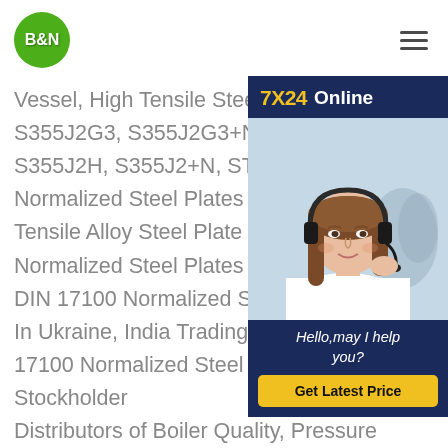B&N
Vessel, High Tensile Steel Plates in Gr... S355J2G3, S355J2G3+N, ST52-3, ST... S355J2H, S355J2+N, ST52 ST52-3 DI... Normalized Steel Plates - ST52-3N Pla... Tensile Alloy Steel Plate St52 to 3ST52... Normalized Steel Plates ST52-3N Plat... DIN 17100 Normalized Steel Plates Pr... In Ukraine, India Trading Company. ST... 17100 Normalized Steel Plates We are Stockholder Distributors of Boiler Quality, Pressure Vessel, High Tensile Steel Plates in Grades S355J2G3, S355J2G3+N, ST52-3, ST52-3N, S355J2H, S355J2+N, ST52.0, E355, P355N, S355JO, High
[Figure (illustration): 7X24 Online chat widget with agent photo, help text 'Hello, may I help you?' and 'Get Latest Price' button]